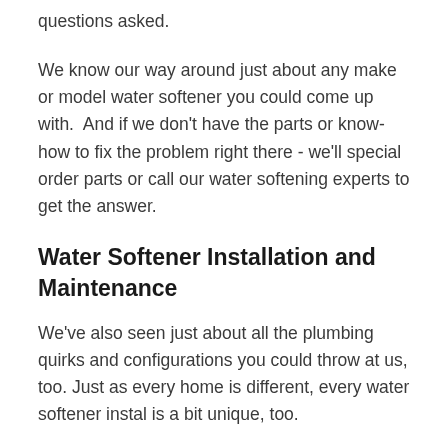questions asked.
We know our way around just about any make or model water softener you could come up with.  And if we don't have the parts or know-how to fix the problem right there - we'll special order parts or call our water softening experts to get the answer.
Water Softener Installation and Maintenance
We've also seen just about all the plumbing quirks and configurations you could throw at us, too. Just as every home is different, every water softener instal is a bit unique, too.